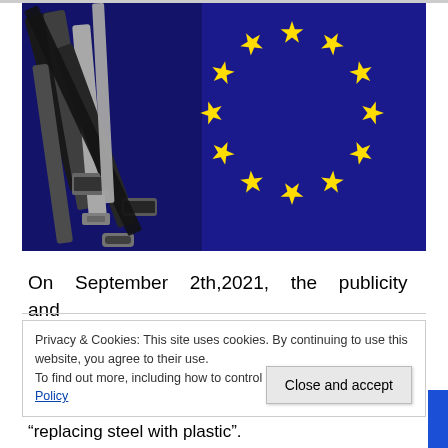[Figure (photo): Multiple USB and other cable connectors (black, grey, white) arranged on a blue EU flag with yellow stars visible in the background.]
On September 2th,2021, the publicity and
Privacy & Cookies: This site uses cookies. By continuing to use this website, you agree to their use.
To find out more, including how to control cookies, see here: Cookie Policy
Close and accept
“replacing steel with plastic”.